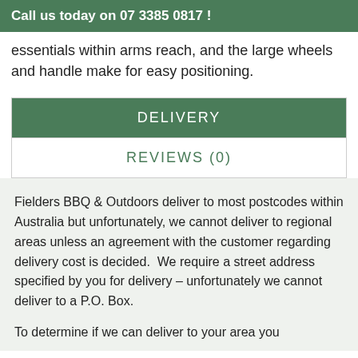Call us today on 07 3385 0817 !
essentials within arms reach, and the large wheels and handle make for easy positioning.
DELIVERY
REVIEWS (0)
Fielders BBQ & Outdoors deliver to most postcodes within Australia but unfortunately, we cannot deliver to regional areas unless an agreement with the customer regarding delivery cost is decided.  We require a street address specified by you for delivery – unfortunately we cannot deliver to a P.O. Box.
To determine if we can deliver to your area you